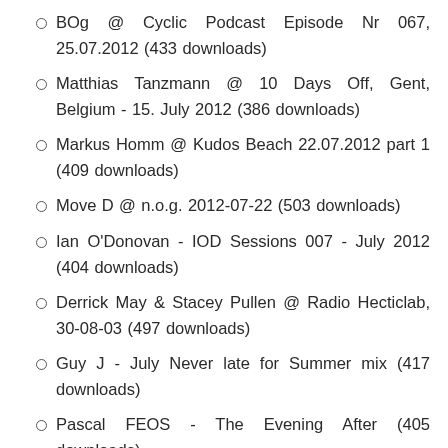BOg @ Cyclic Podcast Episode Nr 067, 25.07.2012 (433 downloads)
Matthias Tanzmann @ 10 Days Off, Gent, Belgium - 15. July 2012 (386 downloads)
Markus Homm @ Kudos Beach 22.07.2012 part 1 (409 downloads)
Move D @ n.o.g. 2012-07-22 (503 downloads)
Ian O'Donovan - IOD Sessions 007 - July 2012 (404 downloads)
Derrick May & Stacey Pullen @ Radio Hecticlab, 30-08-03 (497 downloads)
Guy J - July Never late for Summer mix (417 downloads)
Pascal FEOS - The Evening After (405 downloads)
Wehhba @ Green Valley - 21-07-2012 (417